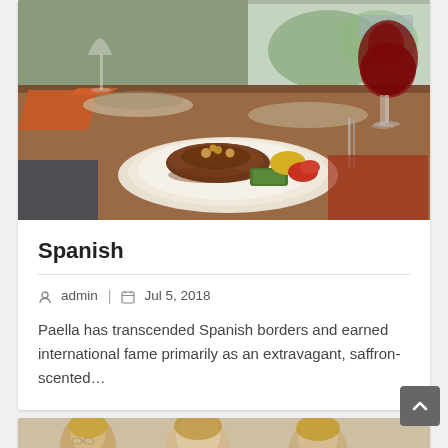[Figure (photo): Restaurant dining table with a plated dish featuring grilled meat with vegetables, a glass of red wine, and table settings in the background]
Spanish
admin  |  Jul 5, 2018
Paella has transcended Spanish borders and earned international fame primarily as an extravagant, saffron-scented…
[Figure (photo): Group of people, partially visible at bottom of page]